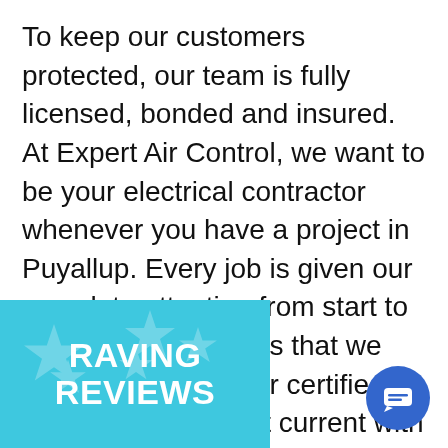To keep our customers protected, our team is fully licensed, bonded and insured. At Expert Air Control, we want to be your electrical contractor whenever you have a project in Puyallup. Every job is given our complete attention from start to end to ensure results that we can be proud of. Our certified electricians are kept current with the industry. They'll have the skills needed to complete any job in a professional and prompt manner. Our workmanship is meticulous, and we'll make sure all details are taken care of. When we're done, we clean up our work area
[Figure (infographic): Teal/cyan banner in the bottom-left corner with star watermarks and bold white text reading 'RAVING REVIEWS']
[Figure (other): Blue circular chat button icon in the bottom-right corner with a white chat bubble/lines icon]